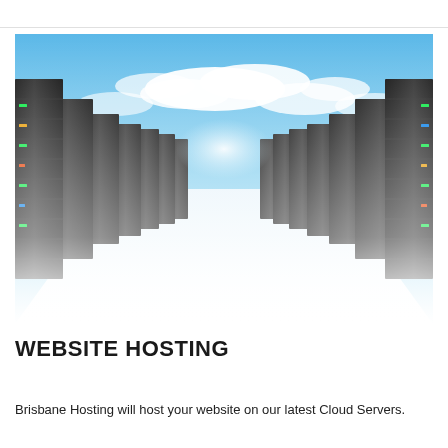[Figure (photo): Perspective view of two long rows of black server racks in a data center, converging toward a vanishing point in the center background. The background shows a blue sky with white clouds visible above the server racks. The floor has a white reflective surface. The overall lighting is bright and dramatic.]
WEBSITE HOSTING
Brisbane Hosting will host your website on our latest Cloud Servers.